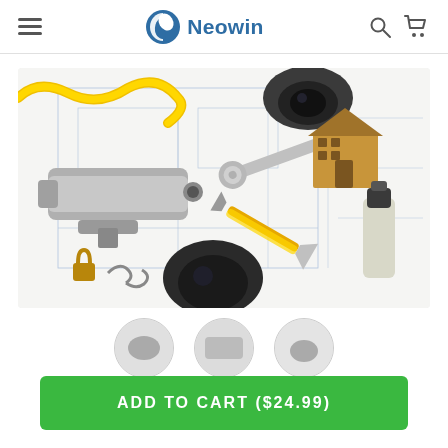Neowin
[Figure (photo): Overhead view of home security / CCTV installation tools and equipment on blueprints: yellow ethernet cable, dome security cameras, bullet security camera, wrench, yellow pliers, padlock, house model, and spray can.]
[Figure (photo): Three partially visible circular thumbnail images at the bottom of the product gallery.]
ADD TO CART ($24.99)